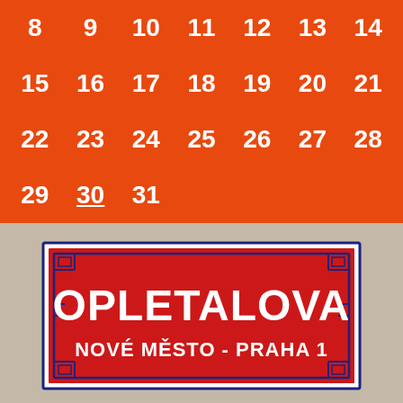| 8 | 9 | 10 | 11 | 12 | 13 | 14 |
| 15 | 16 | 17 | 18 | 19 | 20 | 21 |
| 22 | 23 | 24 | 25 | 26 | 27 | 28 |
| 29 | 30 | 31 |  |  |  |  |
[Figure (photo): A vintage enamel Prague street sign reading OPLETALOVA / NOVÉ MĚSTO - PRAHA 1 with blue decorative border on a red background, white lettering, displayed against a beige/gray background.]